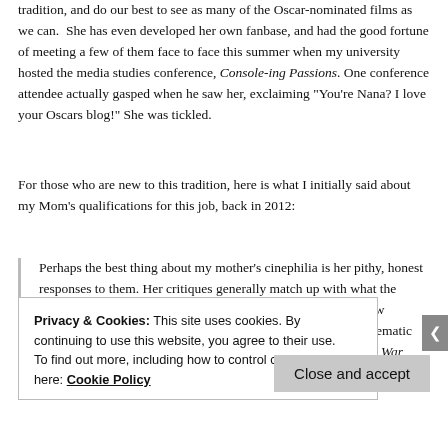tradition, and do our best to see as many of the Oscar-nominated films as we can. She has even developed her own fanbase, and had the good fortune of meeting a few of them face to face this summer when my university hosted the media studies conference, Console-ing Passions. One conference attendee actually gasped when he saw her, exclaiming "You're Nana? I love your Oscars blog!" She was tickled.
For those who are new to this tradition, here is what I initially said about my Mom's qualifications for this job, back in 2012:
Perhaps the best thing about my mother's cinephilia is her pithy, honest responses to them. Her critiques generally match up with what the professional critics have to say. And she sees enough of the new releases to have a solid understanding of the contemporary cinematic landscape. She can tell when a film is being manipulative (like War Horse [or: Steven Spielberg]) and
Privacy & Cookies: This site uses cookies. By continuing to use this website, you agree to their use.
To find out more, including how to control cookies, see here: Cookie Policy